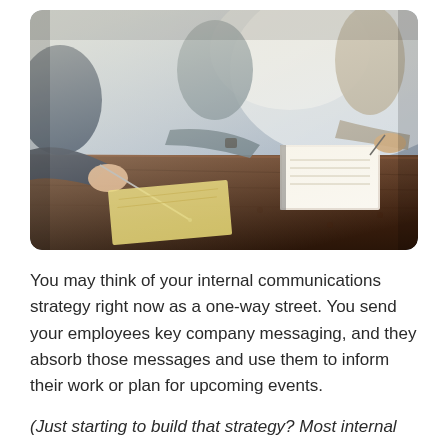[Figure (photo): A group of people sitting around a dark wooden table in a meeting or workshop setting, writing notes on notepads. The scene is photographed from a low angle with natural window light in the background. The image has rounded corners.]
You may think of your internal communications strategy right now as a one-way street. You send your employees key company messaging, and they absorb those messages and use them to inform their work or plan for upcoming events.
(Just starting to build that strategy? Most internal